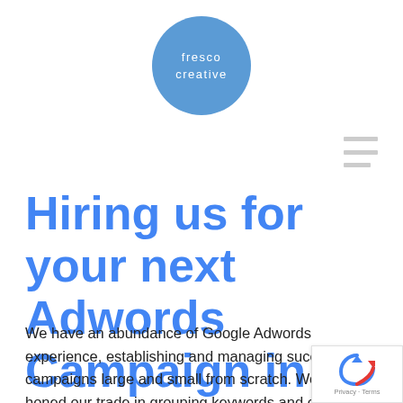[Figure (logo): Fresco Creative logo — a blue circle with white text reading 'fresco creative']
[Figure (other): Hamburger menu icon — three horizontal grey bars]
Hiring us for your next Adwords Campaign in Bury
We have an abundance of Google Adwords experience, establishing and managing successful campaigns large and small from scratch. We have honed our trade in grouping keywords and creating targeted advertise... with a high click through rate (CTR)
[Figure (logo): reCAPTCHA badge in bottom right corner with Privacy · Terms text]